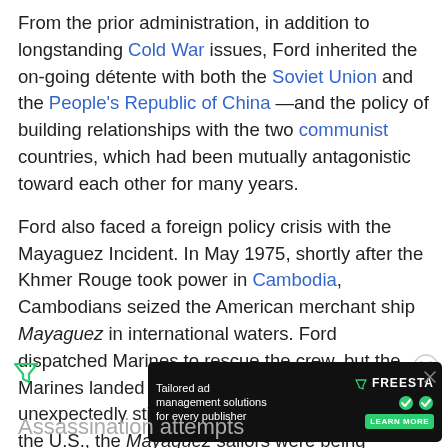From the prior administration, in addition to longstanding Cold War issues, Ford inherited the on-going détente with both the Soviet Union and the People's Republic of China—and the policy of building relationships with the two communist countries, which had been mutually antagonistic toward each other for many years.
Ford also faced a foreign policy crisis with the Mayaguez Incident. In May 1975, shortly after the Khmer Rouge took power in Cambodia, Cambodians seized the American merchant ship Mayaguez in international waters. Ford dispatched Marines to rescue the crew, but the Marines landed on the wrong island and met unexpectedly stiff resistance just as, unknown to the U.S., the Mayaguez sailors were being released. In the operation, fifty U.S. servicemen were wounded and 41 killed while approx...
[Figure (other): Advertisement banner: 'Tailored ad management solutions for every publisher' with FREESTA branding and LEARN MORE button on dark background]
Assassination attempts